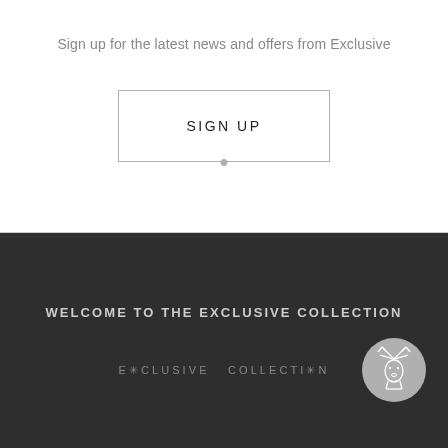Sign up for the latest news and offers from Exclusive
SIGN UP
WELCOME TO THE EXCLUSIVE COLLECTION
E✳CLUSIVE  COLLECTI✳N
[Figure (logo): Circular grey logo with a deer/stag head illustration in white outline]